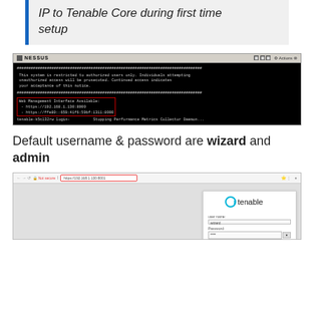IP to Tenable Core during first time setup
[Figure (screenshot): NESSUS terminal window showing system restriction notice and Web Management Interface URLs including https://192.168.1.130:8000 and https://ffe80::659:41f6:59bf:1311:8000, with login prompt and Performance Metrics Collector Daemon stopping message]
Default username & password are wizard and admin
[Figure (screenshot): Browser screenshot showing Tenable login page with logo, username and password fields, and a Login button]